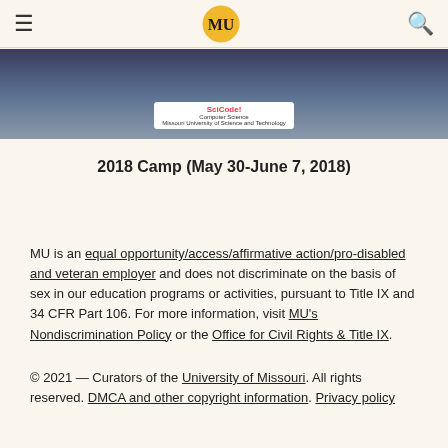MU navigation header with hamburger menu, MU logo, and search icon
[Figure (photo): Group photo of camp participants holding a banner reading 'Computer Science, Missouri University of Science and Technology']
2018 Camp (May 30-June 7, 2018)
MU is an equal opportunity/access/affirmative action/pro-disabled and veteran employer and does not discriminate on the basis of sex in our education programs or activities, pursuant to Title IX and 34 CFR Part 106. For more information, visit MU's Nondiscrimination Policy or the Office for Civil Rights & Title IX.
© 2021 — Curators of the University of Missouri. All rights reserved. DMCA and other copyright information. Privacy policy